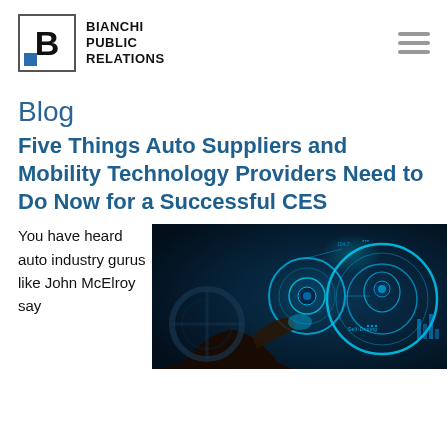[Figure (logo): Bianchi Public Relations logo: square border with letter B and blue square accent, followed by text BIANCHI PUBLIC RELATIONS]
Blog
Five Things Auto Suppliers and Mobility Technology Providers Need to Do Now for a Successful CES
You have heard auto industry gurus like John McElroy say
[Figure (photo): Photo of a person's hand touching a glowing digital dashboard in a car interior, with blue neon circular UI elements and self-driving technology graphics]